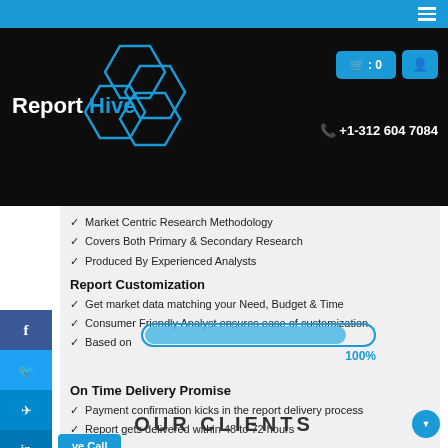Report Hive — +1-312 604 7084
Market Centric Research Methodology
Covers Both Primary & Secondary Research
Produced By Experienced Analysts
Report Customization
Get market data matching your Need, Budget & Time
Consumer Friendly Analyst ensures ease of customization
Based o[n...]
On Time Delivery Promise
[Figure (infographic): A blue progress bar at 100% overlaid on the content area]
Payment confirmation kicks in the report delivery process
Report gets delivered within 48 to 72 hours
OUR CLIENTS